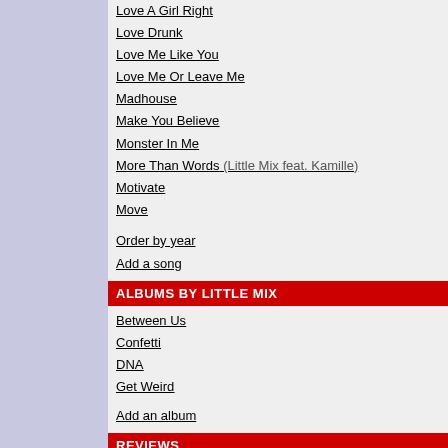Love A Girl Right
Love Drunk
Love Me Like You
Love Me Or Leave Me
Madhouse
Make You Believe
Monster In Me
More Than Words (Little Mix feat. Kamille)
Motivate
Move
Order by year
Add a song
ALBUMS BY LITTLE MIX
Between Us
Confetti
DNA
Get Weird
Add an album
REVIEWS
Average points: 4.19 (Reviews: 36)
09.11.2015 10:18
Fabio (auch Fabi GaGa)
Member
*****
Die Girls geben wie imm... den Girls an!<br>Mir ge...
Last edited: 13.11.2020
10.01.2016 14:38
nirvanamusic87
Member
****
Great song and vocals a... Little Mix tracks. 25 wee... copies sold in the UK.
Last edited: 27.11.2017